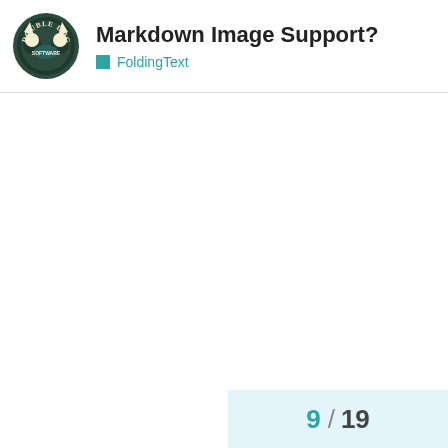Markdown Image Support? FoldingText
[Figure (logo): Double Dog software logo — shield/crest shape with two dog silhouettes, 'DOUBLE DOG' text around, dark olive/teal colors]
Markdown Image Support?
FoldingText
9 / 19